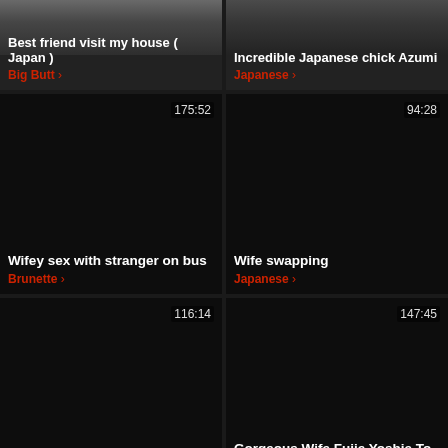[Figure (screenshot): Thumbnail image top-left: Best friend visit my house (Japan)]
Best friend visit my house ( Japan )
Big Butt >
[Figure (screenshot): Thumbnail image top-right: Incredible Japanese chick Azumi]
Incredible Japanese chick Azumi
Japanese >
[Figure (screenshot): Video thumbnail: Wifey sex with stranger on bus, duration 175:52]
Wifey sex with stranger on bus
Brunette >
[Figure (screenshot): Video thumbnail: Wife swapping, duration 94:28]
Wife swapping
Japanese >
[Figure (screenshot): Video thumbnail: The Floating Brassiere Wife Mr., duration 116:14]
The Floating Brassiere Wife Mr.
Hairy >
[Figure (screenshot): Video thumbnail: Gorgeous Wife Fujie Yoshie To Make, duration 147:45]
Gorgeous Wife Fujie Yoshie To Make
Japanese >
[Figure (screenshot): Partial video thumbnail bottom-left, duration 71:59]
[Figure (screenshot): Partial video thumbnail bottom-right, duration 155:19]